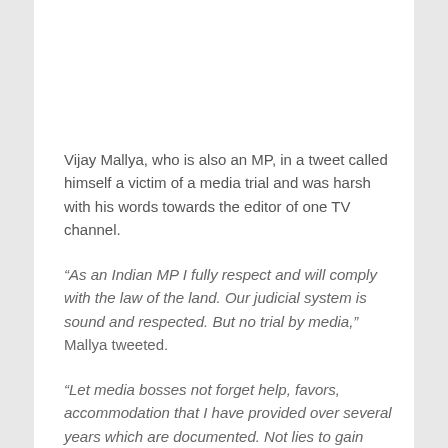Vijay Mallya, who is also an MP, in a tweet called himself a victim of a media trial and was harsh with his words towards the editor of one TV channel.
“As an Indian MP I fully respect and will comply with the law of the land. Our judicial system is sound and respected. But no trial by media,” Mallya tweeted.
“Let media bosses not forget help, favors, accommodation that I have provided over several years which are documented. Not lies to gain TRP.”
While being so aggressive against the alleged flying